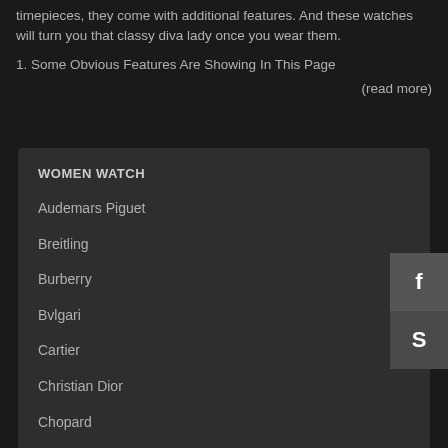timepieces, they come with additional features. And these watches will turn you that classy diva lady once you wear them.
1. Some Obvious Features Are Showing In This Page
(read more)
WOMEN WATCH
Audemars Piguet
Breitling
Burberry
Bvlgari
Cartier
Christian Dior
Chopard
Franck Muller
Hublot
IWC